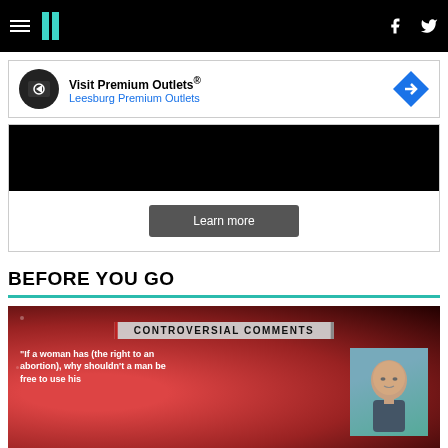HuffPost navigation header with hamburger menu, logo, Facebook and Twitter icons
[Figure (other): Advertisement banner: Visit Premium Outlets® - Leesburg Premium Outlets with diamond arrow logo]
[Figure (other): Video embed area with black video frame and Learn more button]
BEFORE YOU GO
[Figure (screenshot): News screenshot showing 'CONTROVERSIAL COMMENTS' banner with quote: 'If a woman has (the right to an abortion), why shouldn't a man be free to use his...' with image of bald man]